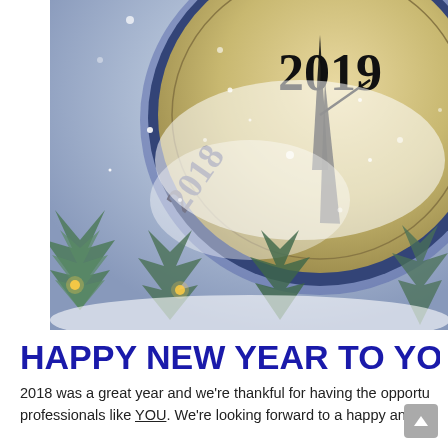[Figure (photo): Close-up photo of a clock face covered in snow showing 2019 and 2018 numerals, with clock hands pointing near midnight, snow falling, and pine branches with lights visible at the bottom.]
HAPPY NEW YEAR TO YOU A
2018 was a great year and we're thankful for having the opportu professionals like YOU. We're looking forward to a happy and pr